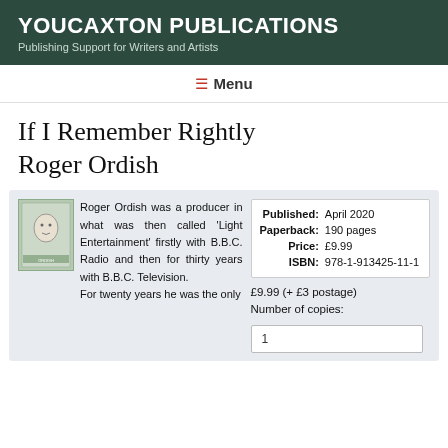YOUCAXTON PUBLICATIONS
Publishing Support for Writers and Artists
≡ Menu
If I Remember Rightly
Roger Ordish
[Figure (illustration): Small book cover thumbnail for 'If I Remember Rightly' by Roger Ordish]
Roger Ordish was a producer in what was then called 'Light Entertainment' firstly with B.B.C. Radio and then for thirty years with B.B.C. Television.
For twenty years he was the only
|  |  |
| --- | --- |
| Published: | April 2020 |
| Paperback: | 190 pages |
| Price: | £9.99 |
| ISBN: | 978-1-913425-11-1 |
£9.99 (+ £3 postage)
Number of copies:
1